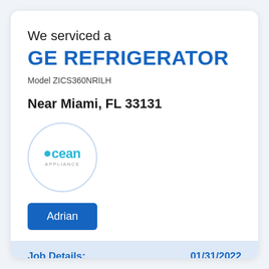We serviced a
GE REFRIGERATOR
Model ZICS360NRILH
Near Miami, FL 33131
[Figure (logo): Ocean Appliance circular logo with teal text and dot]
Adrian
Job Details:    01/31/2022